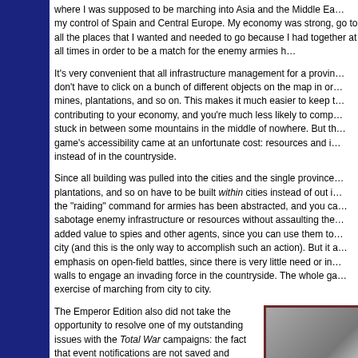where I was supposed to be marching into Asia and the Middle East, I had lost my control of Spain and Central Europe. My economy was strong, but I couldn't go to all the places that I wanted and needed to go because I had to keep my army together at all times in order to be a match for the enemy armies here.
It's very convenient that all infrastructure management for a province is unified; you don't have to click on a bunch of different objects on the map in order to manage mines, plantations, and so on. This makes it much easier to keep track of what's contributing to your economy, and you're much less likely to completely miss a mine stuck in between some mountains in the middle of nowhere. But this increase in the game's accessibility came at an unfortunate cost: resources and infrastructure are now instead of in the countryside.
Since all building was pulled into the cities and the single province capital, mines, plantations, and so on have to be built within cities instead of out in the countryside, the "raiding" command for armies has been abstracted, and you can no longer sabotage enemy infrastructure or resources without assaulting the city. This added value to spies and other agents, since you can use them to raid buildings in the city (and this is the only way to accomplish such an action). But it also added emphasis on open-field battles, since there is very little need or incentive to come to the walls to engage an invading force in the countryside. The whole game becomes an exercise of marching from city to city.
The Emperor Edition also did not take the opportunity to resolve one of my outstanding issues with the Total War campaigns: the fact that event notifications are not saved and repopulated when loading a saved campaign game. So if you neck-deep in a compelling campaign, but have to stop for a couple days, or weeks, or months, you'll load up the game and not have any idea
[Figure (photo): A photograph showing what appears to be a rocky or mountainous terrain, shown in the bottom-right corner of the page.]